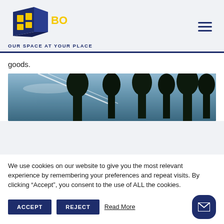[Figure (logo): Boxtor logo: dark blue 3D box shape with yellow window panes, text BOXTOR in bold yellow, tagline OUR SPACE AT YOUR PLACE in dark blue]
goods.
[Figure (photo): Outdoor photo of tall pine trees silhouetted against a blue sky with white contrails/clouds]
We use cookies on our website to give you the most relevant experience by remembering your preferences and repeat visits. By clicking “Accept”, you consent to the use of ALL the cookies.
ACCEPT
REJECT
Read More